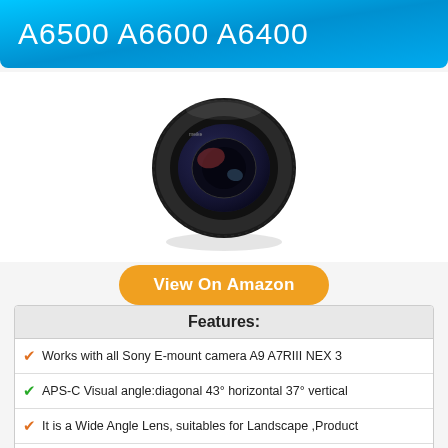A6500 A6600 A6400
[Figure (photo): Black camera lens (35mm manual lens, Sony E-mount) photographed from a slight angle showing the front element, with a subtle reflection below it on a white background.]
View On Amazon
| Features: |
| --- |
| Works with all Sony E-mount camera A9 A7RIII NEX 3 |
| APS-C Visual angle:diagonal 43° horizontal 37° vertical |
| It is a Wide Angle Lens, suitables for Landscape ,Product |
| Lens Not Attached : MANUAL LENS need you to enable |
| Fixed focal length 35mm,Wide angle lens. |